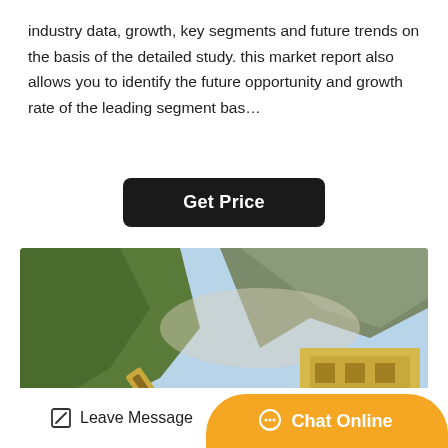industry data, growth, key segments and future trends on the basis of the detailed study. this market report also allows you to identify the future opportunity and growth rate of the leading segment bas…
[Figure (photo): A mobile stone crushing and screening plant with yellow machinery, conveyor belt at angle, pile of crushed gravel in foreground, rocky hillside and blue sky in background.]
Leave Message
Chat Online